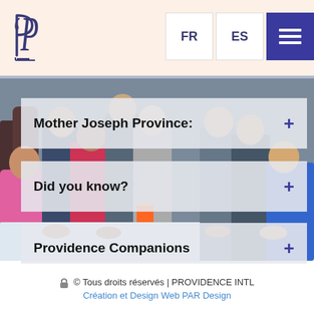FR  ES  ☰
[Figure (photo): Group photo of diverse people gathered around a table with a candle, used as background.]
Mother Joseph Province: +
Did you know? +
Providence Companions +
© Tous droits réservés | PROVIDENCE INTL
Création et Design Web PAR Design